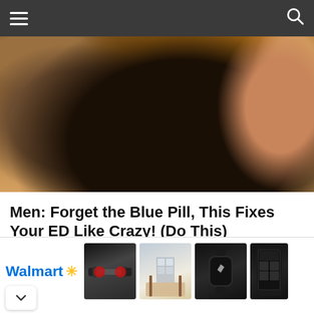[Figure (screenshot): Mobile website navigation bar with hamburger menu icon on left and search icon on right, dark gray background]
[Figure (photo): Close-up photo of a Black man with a beard drinking from a bottle, wearing a white shirt]
Men: Forget the Blue Pill, This Fixes Your ED Like Crazy! (Do This)
Alpha Prime
[Figure (photo): Partial thumbnail of a second article showing a blonde person]
[Figure (screenshot): Walmart advertisement banner showing dumbbells, furniture, smartwatch, and smartphone products]